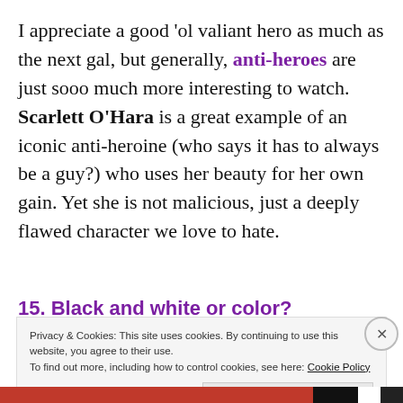I appreciate a good 'ol valiant hero as much as the next gal, but generally, anti-heroes are just sooo much more interesting to watch. Scarlett O'Hara is a great example of an iconic anti-heroine (who says it has to always be a guy?) who uses her beauty for her own gain. Yet she is not malicious, just a deeply flawed character we love to hate.
15. Black and white or color?
Privacy & Cookies: This site uses cookies. By continuing to use this website, you agree to their use.
To find out more, including how to control cookies, see here: Cookie Policy